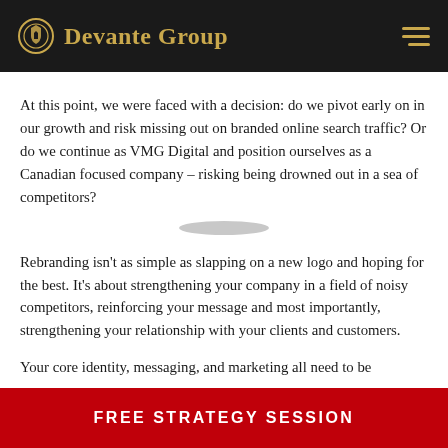Devante Group
At this point, we were faced with a decision: do we pivot early on in our growth and risk missing out on branded online search traffic? Or do we continue as VMG Digital and position ourselves as a Canadian focused company – risking being drowned out in a sea of competitors?
Rebranding isn't as simple as slapping on a new logo and hoping for the best. It's about strengthening your company in a field of noisy competitors, reinforcing your message and most importantly, strengthening your relationship with your clients and customers.
Your core identity, messaging, and marketing all need to be
FREE STRATEGY SESSION